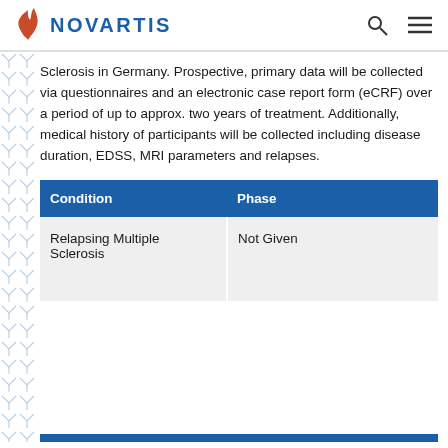NOVARTIS
Sclerosis in Germany. Prospective, primary data will be collected via questionnaires and an electronic case report form (eCRF) over a period of up to approx. two years of treatment. Additionally, medical history of participants will be collected including disease duration, EDSS, MRI parameters and relapses.
| Condition | Phase |
| --- | --- |
| Relapsing Multiple Sclerosis | Not Given |